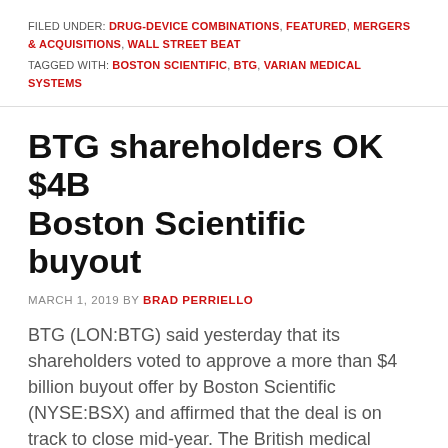FILED UNDER: DRUG-DEVICE COMBINATIONS, FEATURED, MERGERS & ACQUISITIONS, WALL STREET BEAT TAGGED WITH: BOSTON SCIENTIFIC, BTG, VARIAN MEDICAL SYSTEMS
BTG shareholders OK $4B Boston Scientific buyout
MARCH 1, 2019 BY BRAD PERRIELLO
BTG (LON:BTG) said yesterday that its shareholders voted to approve a more than $4 billion buyout offer by Boston Scientific (NYSE:BSX) and affirmed that the deal is on track to close mid-year. The British medical device maker said that some 95.4% of the shareholders affected by the tie-up voted for the deal, with 4.6% of those shares voting against. [...]